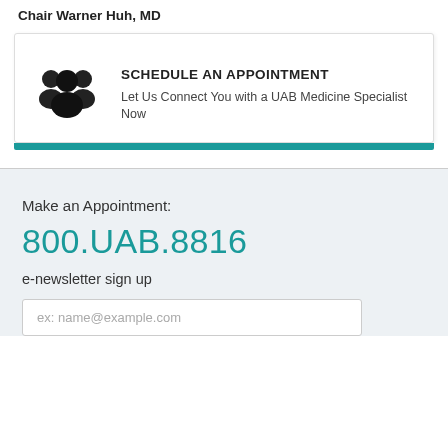Chair Warner Huh, MD
[Figure (illustration): Group of people silhouette icon in black]
SCHEDULE AN APPOINTMENT
Let Us Connect You with a UAB Medicine Specialist Now
Make an Appointment:
800.UAB.8816
e-newsletter sign up
ex: name@example.com